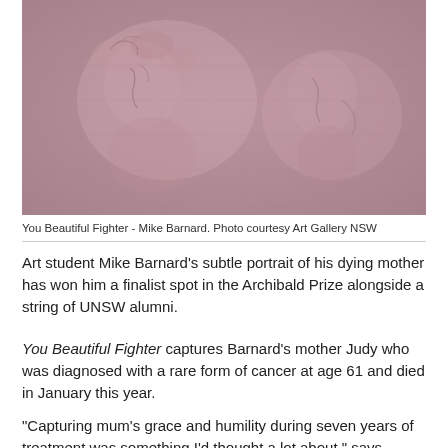[Figure (photo): A muted, reddish-pink painting of a woman's profile/portrait, subtle and textured, showing a face in side view with delicate pencil or charcoal-like marks on a linen-toned background.]
You Beautiful Fighter - Mike Barnard. Photo courtesy Art Gallery NSW
Art student Mike Barnard's subtle portrait of his dying mother has won him a finalist spot in the Archibald Prize alongside a string of UNSW alumni.
You Beautiful Fighter captures Barnard's mother Judy who was diagnosed with a rare form of cancer at age 61 and died in January this year.
“Capturing mum’s grace and humility during seven years of treatment was something I’d thought a lot about,” says UNSW Art and Design student Barnard of his mother’s experience with a